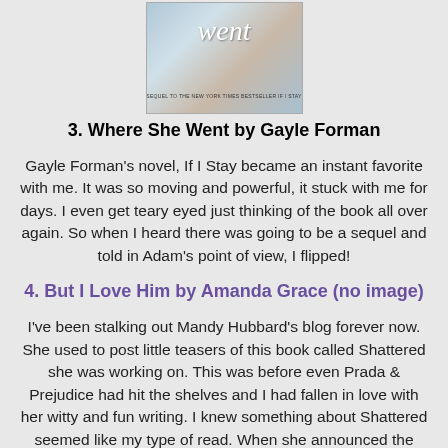[Figure (photo): Book cover of 'Where She Went' showing partial text 'went' and subtitle 'Sequel to the New York Times Bestseller If I Stay']
3. Where She Went by Gayle Forman
Gayle Forman's novel, If I Stay became an instant favorite with me. It was so moving and powerful, it stuck with me for days. I even get teary eyed just thinking of the book all over again. So when I heard there was going to be a sequel and told in Adam's point of view, I flipped!
4. But I Love Him by Amanda Grace (no image)
I've been stalking out Mandy Hubbard's blog forever now. She used to post little teasers of this book called Shattered she was working on. This was before even Prada & Prejudice had hit the shelves and I had fallen in love with her witty and fun writing. I knew something about Shattered seemed like my type of read. When she announced the book